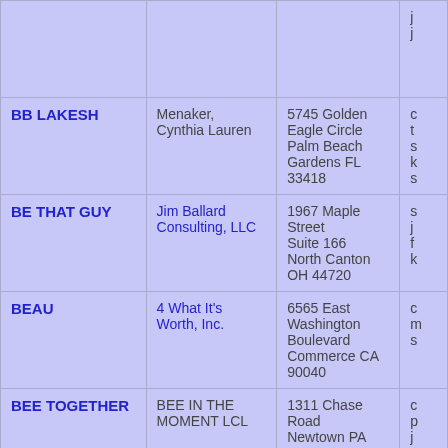| Name | Contact/Company | Address | Other |
| --- | --- | --- | --- |
|  |  |  | j j |
| BB LAKESH | Menaker, Cynthia Lauren | 5745 Golden Eagle Circle
Palm Beach Gardens FL 33418 | c t s k s |
| BE THAT GUY | Jim Ballard Consulting, LLC | 1967 Maple Street
Suite 166
North Canton OH 44720 | s j f k |
| BEAU | 4 What It's Worth, Inc. | 6565 East Washington Boulevard
Commerce CA 90040 | c m s |
| BEE TOGETHER | BEE IN THE MOMENT LCL | 1311 Chase Road
Newtown PA 18940 | c p j |